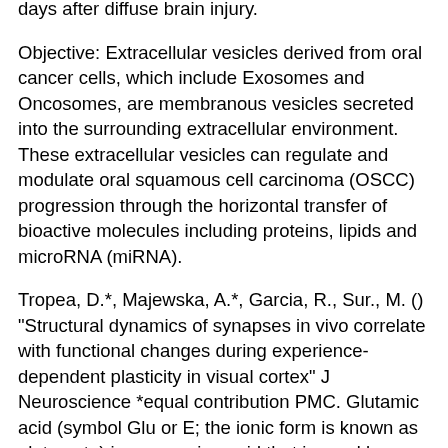days after diffuse brain injury.
Objective: Extracellular vesicles derived from oral cancer cells, which include Exosomes and Oncosomes, are membranous vesicles secreted into the surrounding extracellular environment. These extracellular vesicles can regulate and modulate oral squamous cell carcinoma (OSCC) progression through the horizontal transfer of bioactive molecules including proteins, lipids and microRNA (miRNA).
Tropea, D.*, Majewska, A.*, Garcia, R., Sur., M. () "Structural dynamics of synapses in vivo correlate with functional changes during experience-dependent plasticity in visual cortex" J Neuroscience *equal contribution PMC. Glutamic acid (symbol Glu or E; the ionic form is known as glutamate) is an α-amino acid that is used by almost all living beings in the biosynthesis of is non-essential in humans, meaning the body can synthesize it.
It is also an excitatory neurotransmitter, in fact the most abundant one, in the vertebrate nervous sense as the precursor for the synthesis of